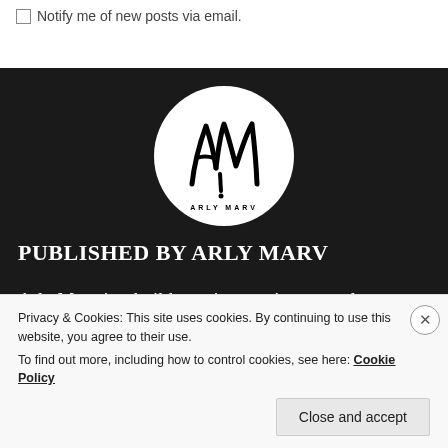☐ Notify me of new posts via email.
[Figure (logo): Arly Marv circular logo — white circle on black background with stylized 'AM' monogram in black brush script and 'ARLY MARV' text at the bottom]
PUBLISHED BY ARLY MARV
Arly Marv is a builder, using music as a tool to
Privacy & Cookies: This site uses cookies. By continuing to use this website, you agree to their use.
To find out more, including how to control cookies, see here: Cookie Policy
Close and accept